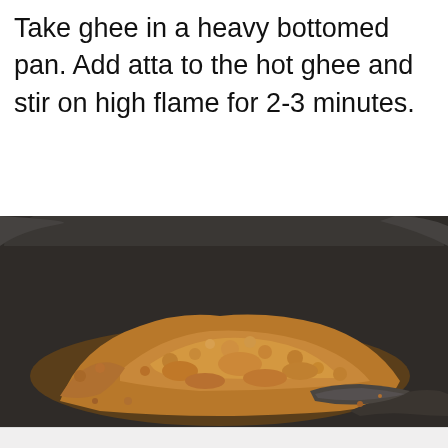Take ghee in a heavy bottomed pan. Add atta to the hot ghee and stir on high flame for 2-3 minutes.
[Figure (photo): A dark heavy-bottomed pan (wok/kadai) with crumbly golden-brown roasted wheat flour (atta) mixture being stirred with a spatula]
5 Quick Kids Friendly Breakfast Recipes | Sign up to download.
[Figure (other): Email input field with placeholder 'Email' and an orange DOWNLOAD button]